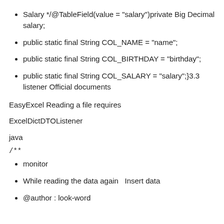Salary */@TableField(value = &quot;salary&quot;)private Big Decimal salary;
public static final String COL_NAME = &quot;name&quot;;
public static final String COL_BIRTHDAY = &quot;birthday&quot;;
public static final String COL_SALARY = &quot;salary&quot;;}3.3 listener Official documents
EasyExcel Reading a file requires
ExcelDictDTOListener
java
/**
monitor
While reading the data again   Insert data
@author : look-word